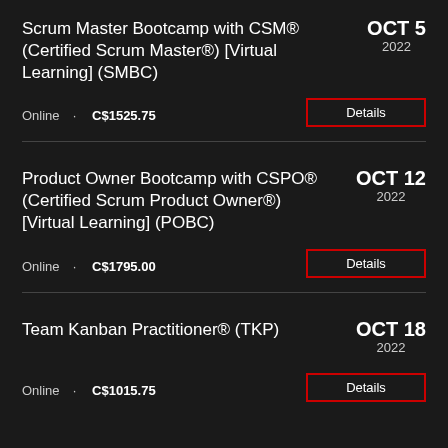Scrum Master Bootcamp with CSM® (Certified Scrum Master®) [Virtual Learning] (SMBC)
OCT 5 2022
Online · C$1525.75
Details
Product Owner Bootcamp with CSPO® (Certified Scrum Product Owner®) [Virtual Learning] (POBC)
OCT 12 2022
Online · C$1795.00
Details
Team Kanban Practitioner® (TKP)
OCT 18 2022
Online · C$1015.75
Details